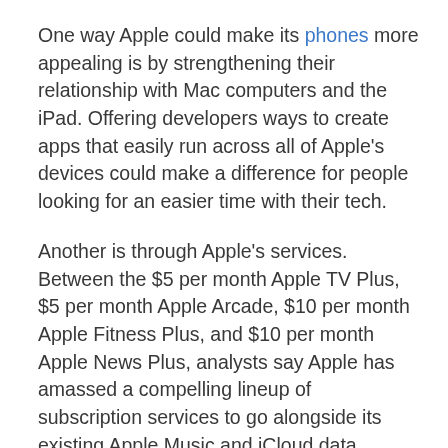One way Apple could make its phones more appealing is by strengthening their relationship with Mac computers and the iPad. Offering developers ways to create apps that easily run across all of Apple's devices could make a difference for people looking for an easier time with their tech.
Another is through Apple's services. Between the $5 per month Apple TV Plus, $5 per month Apple Arcade, $10 per month Apple Fitness Plus, and $10 per month Apple News Plus, analysts say Apple has amassed a compelling lineup of subscription services to go alongside its existing Apple Music and iCloud data storage and sync services.